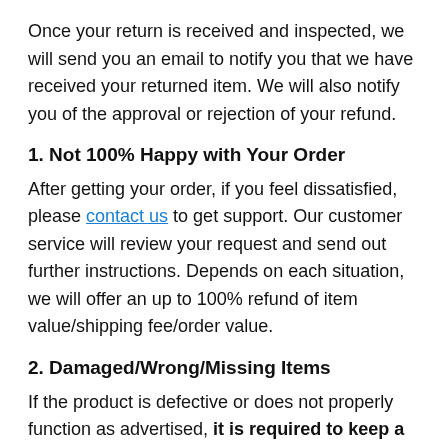Once your return is received and inspected, we will send you an email to notify you that we have received your returned item. We will also notify you of the approval or rejection of your refund.
1. Not 100% Happy with Your Order
After getting your order, if you feel dissatisfied, please contact us to get support. Our customer service will review your request and send out further instructions. Depends on each situation, we will offer an up to 100% refund of item value/shipping fee/order value.
2. Damaged/Wrong/Missing Items
If the product is defective or does not properly function as advertised, it is required to keep a shipping label of the package you received. Kindly take an unboxing